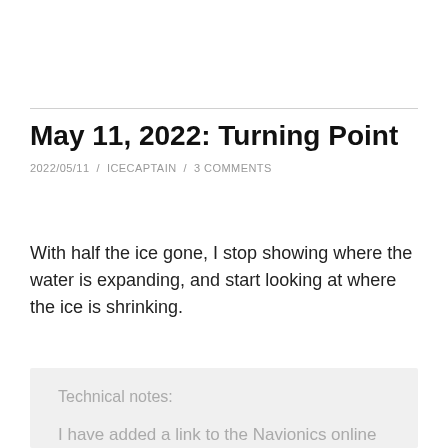May 11, 2022: Turning Point
2022/05/11  /  ICECAPTAIN  /  3 COMMENTS
With half the ice gone, I stop showing where the water is expanding, and start looking at where the ice is shrinking.
Technical notes:
I have added a link to the Navionics online map of Lake of the Woods to the right-hand